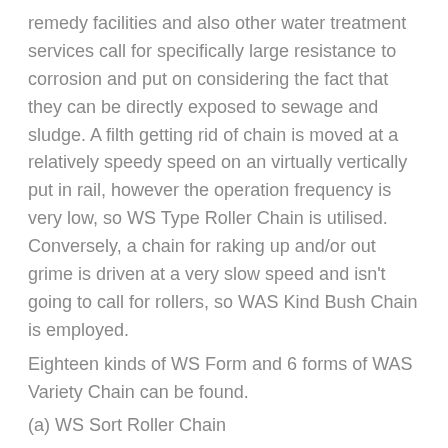remedy facilities and also other water treatment services call for specifically large resistance to corrosion and put on considering the fact that they can be directly exposed to sewage and sludge. A filth getting rid of chain is moved at a relatively speedy speed on an virtually vertically put in rail, however the operation frequency is very low, so WS Type Roller Chain is utilised. Conversely, a chain for raking up and/or out grime is driven at a very slow speed and isn't going to call for rollers, so WAS Kind Bush Chain is employed.
Eighteen kinds of WS Form and 6 forms of WAS Variety Chain can be found.
(a) WS Sort Roller Chain
A WS Variety Roller Chain is intended to deliver large corrosion resistance and put on resistance for prolonged services from the extreme environment of water remedy applications.
Since the operating time of this type of tools is